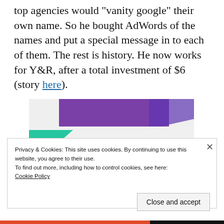top agencies would "vanity google" their own name. So he bought AdWords of the names and put a special message in to each of them. The rest is history. He now works for Y&R, after a total investment of $6 (story here).
[Figure (illustration): Advertisement banner with purple and teal geometric shapes on a light grey background. Text reads 'How to start selling subscriptions online' in bold black.]
Privacy & Cookies: This site uses cookies. By continuing to use this website, you agree to their use.
To find out more, including how to control cookies, see here:
Cookie Policy
Close and accept